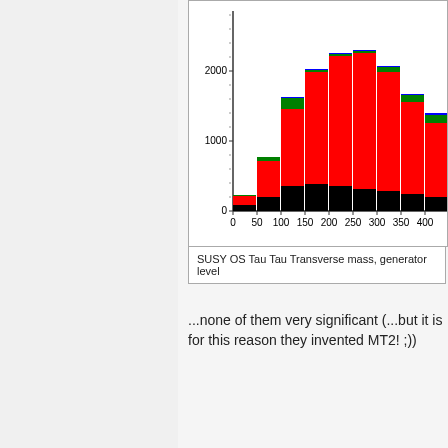[Figure (stacked-bar-chart): Stacked histogram showing SUSY OS Tau Tau Transverse mass at generator level. Colors: red (largest component), green (second), black (bottom/background), blue (top, small). Y-axis from 0 to ~2500, X-axis from 0 to 400+. Chart is partially cropped on right side.]
SUSY OS Tau Tau Transverse mass, generator level
...none of them very significant (...but it is for this reason they invented MT2! ;))